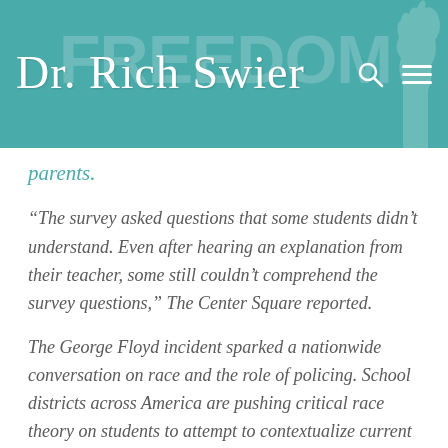Dr. Rich Swier
parents.
“The survey asked questions that some students didn’t understand. Even after hearing an explanation from their teacher, some still couldn’t comprehend the survey questions,” The Center Square reported.
The George Floyd incident sparked a nationwide conversation on race and the role of policing. School districts across America are pushing critical race theory on students to attempt to contextualize current events on matters of race.